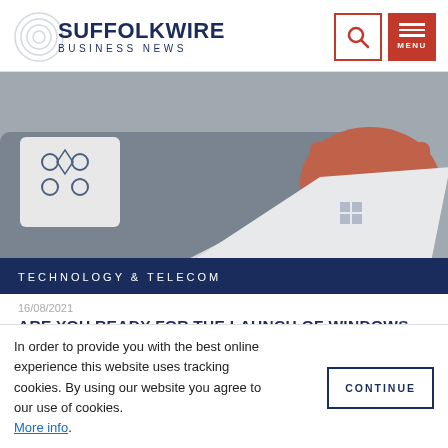SuffolkWire Business News
[Figure (photo): Photo of a laptop open on a coffee table in a living room with a sofa with cushions in the background]
TECHNOLOGY & TELECOM
16/08/2021
ARE YOU READY FOR THE LAUNCH OF WINDOWS
In order to provide you with the best online experience this website uses tracking cookies. By using our website you agree to our use of cookies. More info.